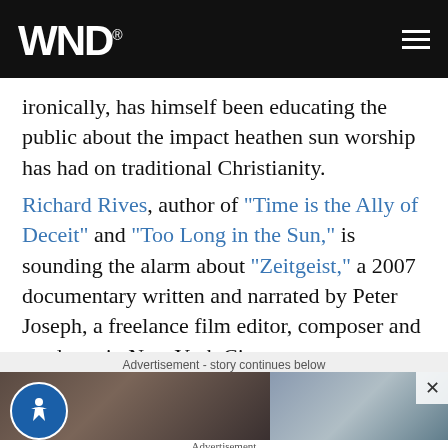WND
ironically, has himself been educating the public about the impact heathen sun worship has had on traditional Christianity.
Richard Rives, author of "Time is the Ally of Deceit" and "Too Long in the Sun," is sounding the alarm about "Zeitgeist," a 2007 documentary written and narrated by Peter Joseph, a freelance film editor, composer and producer in New York City.
Advertisement - story continues below
[Figure (photo): Two side-by-side cropped photos of people, left image showing a woman with brown hair, right showing a man, with a close button in upper right corner. Accessibility icon in lower left.]
Advertisement
Feel Better In Your Body: Easy Workout Moves